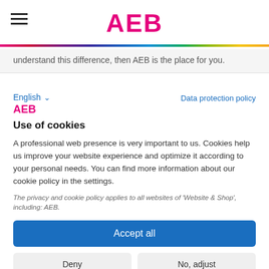AEB
understand this difference, then AEB is the place for you.
English ∨
Data protection policy
AEB
Use of cookies
A professional web presence is very important to us. Cookies help us improve your website experience and optimize it according to your personal needs. You can find more information about our cookie policy in the settings.
The privacy and cookie policy applies to all websites of 'Website & Shop', including: AEB.
Accept all
Deny
No, adjust